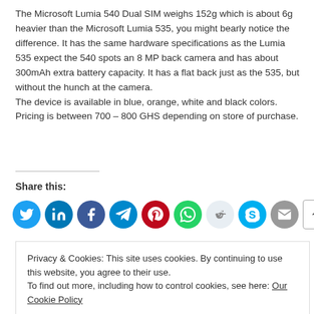The Microsoft Lumia 540 Dual SIM weighs 152g which is about 6g heavier than the Microsoft Lumia 535, you might bearly notice the difference. It has the same hardware specifications as the Lumia 535 expect the 540 spots an 8 MP back camera and has about 300mAh extra battery capacity. It has a flat back just as the 535, but without the hunch at the camera.
The device is available in blue, orange, white and black colors. Pricing is between 700 – 800 GHS depending on store of purchase.
Share this:
[Figure (infographic): Row of social share buttons: Twitter (blue), LinkedIn (dark blue), Facebook (blue), Telegram (blue), Pinterest (red), WhatsApp (green), Reddit (light blue/gray), Skype (dark blue), Email (gray), and a More button]
Privacy & Cookies: This site uses cookies. By continuing to use this website, you agree to their use.
To find out more, including how to control cookies, see here: Our Cookie Policy
Close and accept